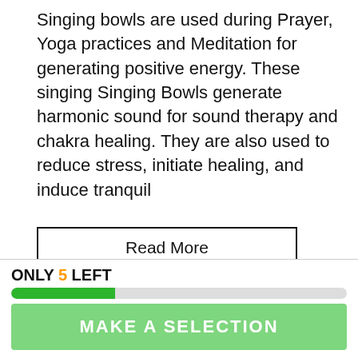Singing bowls are used during Prayer, Yoga practices and Meditation for generating positive energy. These singing Singing Bowls generate harmonic sound for sound therapy and chakra healing. They are also used to reduce stress, initiate healing, and induce tranquil
Read More
people are currently looking at this product
Estimated delivery time 14-30 days
[Figure (infographic): Social share buttons: SHARE (Facebook), TWEET (Twitter), PIN IT (Pinterest)]
GUARANTEED SAFE CHECKOUT
ONLY 5 LEFT
[Figure (infographic): Progress bar showing stock level, approximately 31% filled in green]
MAKE A SELECTION